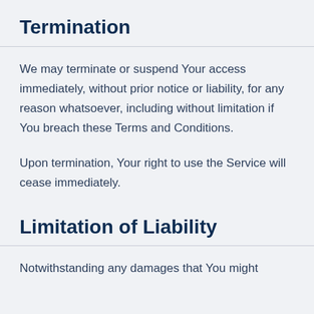Termination
We may terminate or suspend Your access immediately, without prior notice or liability, for any reason whatsoever, including without limitation if You breach these Terms and Conditions.
Upon termination, Your right to use the Service will cease immediately.
Limitation of Liability
Notwithstanding any damages that You might